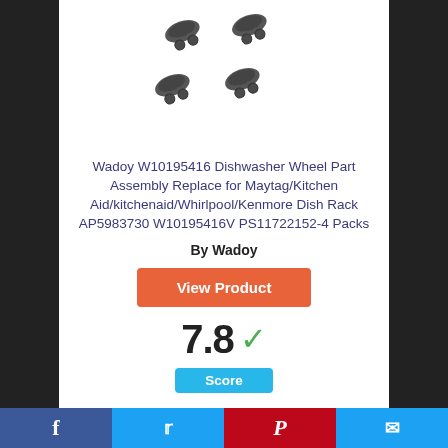[Figure (photo): Four dark gray dishwasher wheel assemblies arranged in a 2x2 pattern on white background]
Wadoy W10195416 Dishwasher Wheel Part Assembly Replace for Maytag/Kitchen Aid/kitchenaid/Whirlpool/Kenmore Dish Rack AP5983730 W10195416V PS11722152-4 Packs
By Wadoy
View Product
7.8 Score